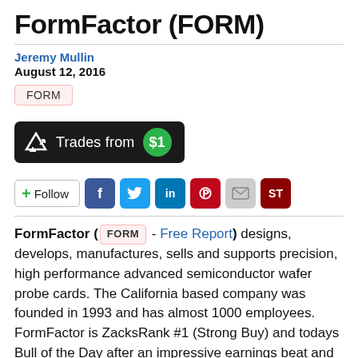FormFactor (FORM)
Jeremy Mullin
August 12, 2016
FORM
[Figure (infographic): Dark rounded rectangle banner with share icon and text 'Trades from $1' with green circle containing '$1']
[Figure (infographic): Social sharing row: Follow button, Facebook, Twitter, LinkedIn, Pinterest, Email, ST buttons]
FormFactor ( FORM - Free Report ) designs, develops, manufactures, sells and supports precision, high performance advanced semiconductor wafer probe cards. The California based company was founded in 1993 and has almost 1000 employees. FormFactor is ZacksRank #1 (Strong Buy) and todays Bull of the Day after an impressive earnings beat and multiple price